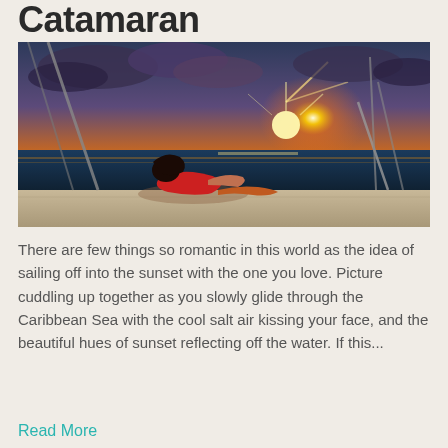Catamaran
[Figure (photo): Woman in red dress lying on the deck of a catamaran watching a vibrant orange and gold sunset over the ocean, with sailboat rigging visible.]
There are few things so romantic in this world as the idea of sailing off into the sunset with the one you love. Picture cuddling up together as you slowly glide through the Caribbean Sea with the cool salt air kissing your face, and the beautiful hues of sunset reflecting off the water. If this...
Read More